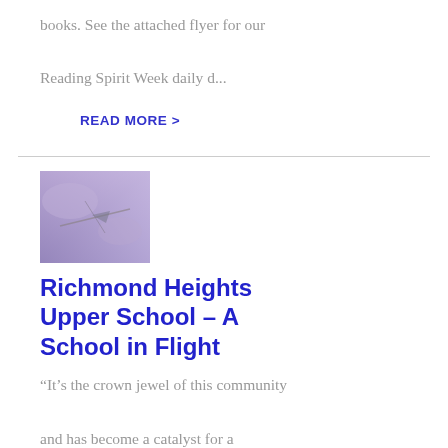books. See the attached flyer for our Reading Spirit Week daily d...
READ MORE >
[Figure (photo): Small thumbnail image with purple/blue abstract appearance, possibly showing an airplane or flight-related subject]
Richmond Heights Upper School – A School in Flight
“It’s the crown jewel of this community and has become a catalyst for a renaissance in Richmond Heights, which is on its way to ‘bigger and better.’ ” ~ Dr. Renee Willi...